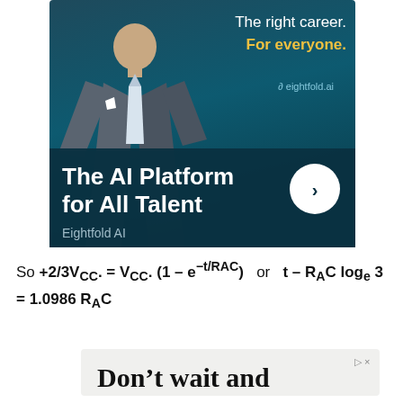[Figure (illustration): Advertisement banner for Eightfold AI showing a man in a suit, text 'The right career. For everyone.' and 'The AI Platform for All Talent', with Eightfold AI logo and a circular arrow button.]
[Figure (illustration): Partial advertisement banner showing text 'Don't wait and' with ad controls (play and close icons).]